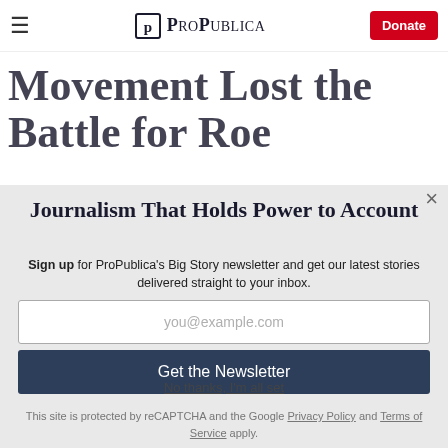ProPublica — Donate
How the Pro-Choice Movement Lost the Battle for Roe
Journalism That Holds Power to Account
Sign up for ProPublica's Big Story newsletter and get our latest stories delivered straight to your inbox.
you@example.com
Get the Newsletter
No thanks, I'm all set
This site is protected by reCAPTCHA and the Google Privacy Policy and Terms of Service apply.